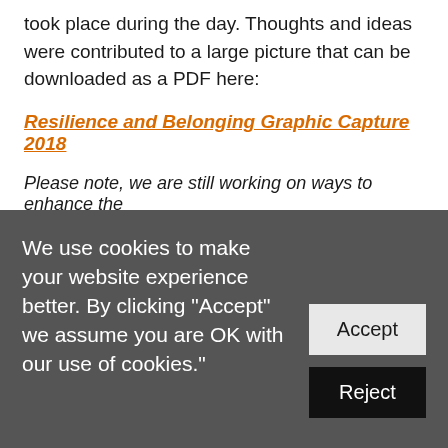took place during the day. Thoughts and ideas were contributed to a large picture that can be downloaded as a PDF here:
Resilience and Belonging Graphic Capture 2018
Please note, we are still working on ways to enhance the
We use cookies to make your website experience better. By clicking "Accept" we assume you are OK with our use of cookies."